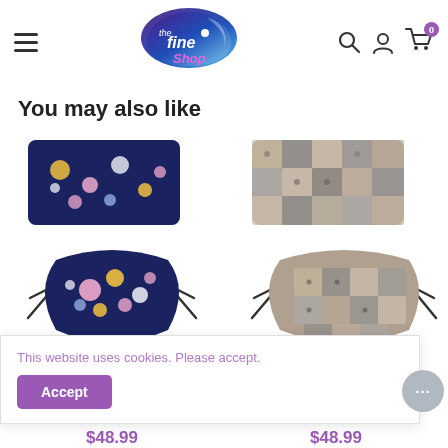[Figure (logo): The Fine Shop logo — blue/purple teardrop shape with white 'the fine shop' text and stylized leaf/water droplet.]
You may also like
[Figure (photo): Two face masks with navy blue floral pattern (flowers in pink, yellow, white) — one flat folded view and one shaped/worn view shown below it.]
[Figure (photo): Two face masks with patchwork/checkered grey-brown pattern — one flat folded view and one shaped/worn view shown partially.]
This website uses cookies. Please accept.
Accept
$48.99
$48.99